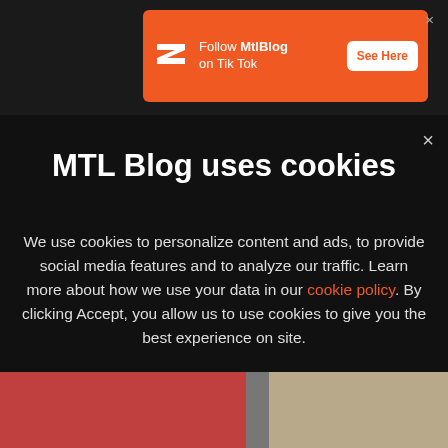[Figure (screenshot): Orange advertisement banner with MTL Blog logo, text 'Follow MtlBlog on Tik Tok', and 'See Here' button]
MTL Blog uses cookies
We use cookies to personalize content and ads, to provide social media features and to analyze our traffic. Learn more about how we use your data in our cookie policy. By clicking Accept, you allow us to use cookies to give you the best experience on site.
[Figure (screenshot): Orange Accept button for cookie consent]
[Figure (photo): Partial view of webpage images at the bottom of the page]